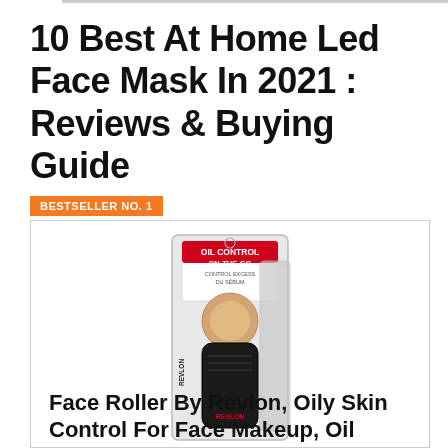10 Best At Home Led Face Mask In 2021 : Reviews & Buying Guide
BESTSELLER NO. 1
[Figure (photo): Revlon Oil Control On-The-Go face roller product in retail packaging, black roller device with beige roller ball shown in clear plastic clamshell package]
Face Roller By Revlon, Oily Skin Control For Face Makeup, Oil